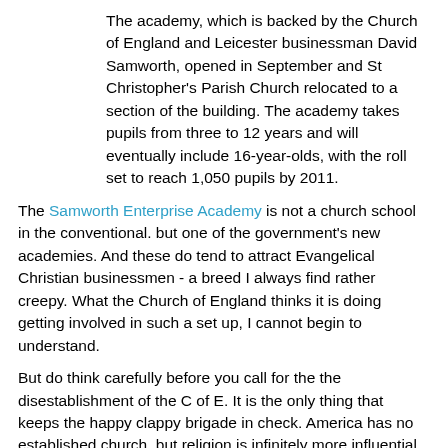The academy, which is backed by the Church of England and Leicester businessman David Samworth, opened in September and St Christopher's Parish Church relocated to a section of the building. The academy takes pupils from three to 12 years and will eventually include 16-year-olds, with the roll set to reach 1,050 pupils by 2011.
The Samworth Enterprise Academy is not a church school in the conventional. but one of the government's new academies. And these do tend to attract Evangelical Christian businessmen - a breed I always find rather creepy. What the Church of England thinks it is doing getting involved in such a set up, I cannot begin to understand.
But do think carefully before you call for the the disestablishment of the C of E. It is the only thing that keeps the happy clappy brigade in check. America has no established church, but religion is infinitely more influential there than here.